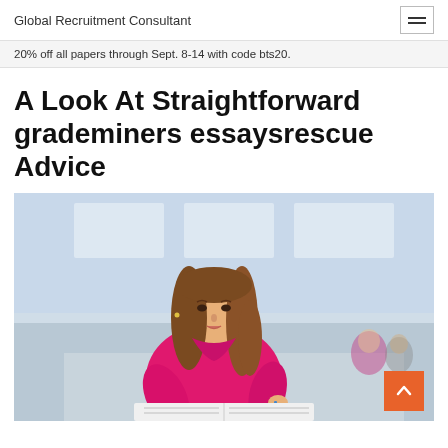Global Recruitment Consultant
20% off all papers through Sept. 8-14 with code bts20.
A Look At Straightforward grademiners essaysrescue Advice
[Figure (photo): A young woman with long brown hair wearing a bright pink sweater, writing in a notebook/book, in a blurred academic or library setting. Other students are visible blurred in the background.]